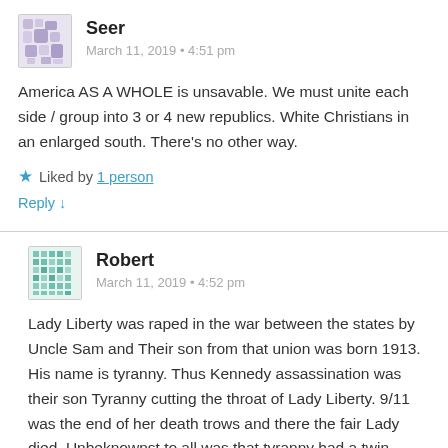[Figure (illustration): Avatar image for user Seer — purple/blue abstract pattern]
Seer
March 11, 2019 • 4:51 pm
America AS A WHOLE is unsavable. We must unite each side / group into 3 or 4 new republics. White Christians in an enlarged south. There's no other way.
★ Liked by 1 person
Reply ↓
[Figure (illustration): Avatar image for user Robert — teal/green grid/pixel pattern]
Robert
March 11, 2019 • 4:52 pm
Lady Liberty was raped in the war between the states by Uncle Sam and Their son from that union was born 1913. His name is tyranny. Thus Kennedy assassination was their son Tyranny cutting the throat of Lady Liberty. 9/11 was the end of her death trows and there the fair Lady died. Unbeknownst to all was that tyranny had a twin sister named indifference. She girded herself with her mothers